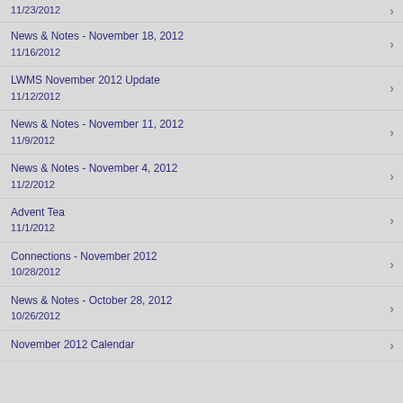11/23/2012
News & Notes - November 18, 2012
11/16/2012
LWMS November 2012 Update
11/12/2012
News & Notes - November 11, 2012
11/9/2012
News & Notes - November 4, 2012
11/2/2012
Advent Tea
11/1/2012
Connections - November 2012
10/28/2012
News & Notes - October 28, 2012
10/26/2012
November 2012 Calendar